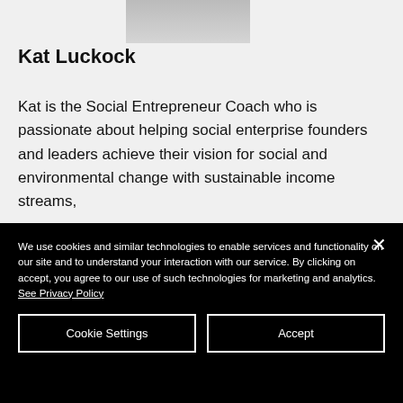[Figure (photo): Partial profile photo of Kat Luckock, cropped at top of page]
Kat Luckock
Kat is the Social Entrepreneur Coach who is passionate about helping social enterprise founders and leaders achieve their vision for social and environmental change with sustainable income streams,
We use cookies and similar technologies to enable services and functionality on our site and to understand your interaction with our service. By clicking on accept, you agree to our use of such technologies for marketing and analytics. See Privacy Policy
Cookie Settings
Accept